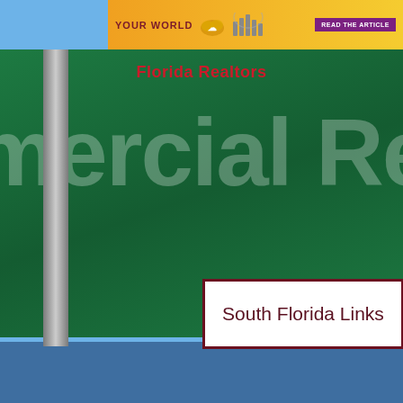[Figure (screenshot): Top orange banner with 'YOUR WORLD' text, cloud and bar chart icons, and a purple 'READ THE ARTICLE' button]
Florida Realtors
[Figure (photo): Green street sign in background with large white text 'mercial Rea' visible, street pole on left, blue sky below]
South Florida Links
Central Florida Links
[Figure (screenshot): Dark blue-gray scroll-to-top arrow button in lower right]
[Figure (screenshot): Language selector showing US flag and EN text]
n Florid